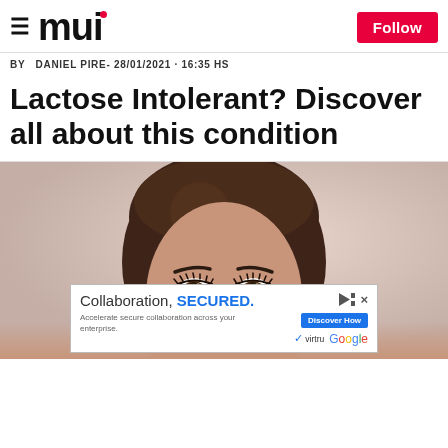≡ mui  Follow
BY  DANIEL PIRE- 28/01/2021 · 16:35 HS
Lactose Intolerant? Discover all about this condition
[Figure (photo): Close-up photo of a young woman with brown hair and makeup against a light pink/beige background, visible from forehead to nose area]
[Figure (other): Advertisement banner: Collaboration, SECURED. Accelerate secure collaboration across your enterprise. Discover How button. Virtru and Google logos.]